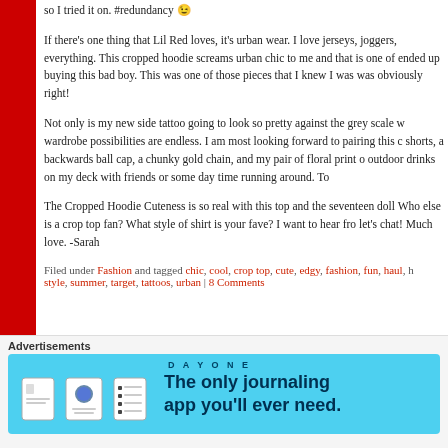so I tried it on. #redundancy 😉
If there's one thing that Lil Red loves, it's urban wear. I love jerseys, joggers, everything. This cropped hoodie screams urban chic to me and that is one of ended up buying this bad boy. This was one of those pieces that I knew I was was obviously right!
Not only is my new side tattoo going to look so pretty against the grey scale w wardrobe possibilities are endless. I am most looking forward to pairing this c shorts, a backwards ball cap, a chunky gold chain, and my pair of floral print outdoor drinks on my deck with friends or some day time running around. To
The Cropped Hoodie Cuteness is so real with this top and the seventeen doll Who else is a crop top fan? What style of shirt is your fave? I want to hear fro let's chat! Much love. -Sarah
Filed under Fashion and tagged chic, cool, crop top, cute, edgy, fashion, fun, haul, h style, summer, target, tattoos, urban | 8 Comments
Advertisements
[Figure (screenshot): Day One journaling app advertisement banner with blue background, app icon illustrations, and text 'The only journaling app you'll ever need.']